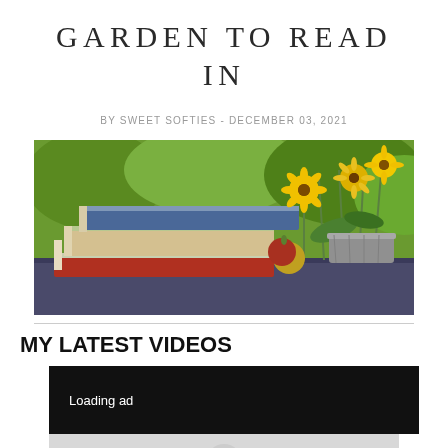GARDEN TO READ IN
BY SWEET SOFTIES - DECEMBER 03, 2021
[Figure (photo): Stacked books with yellow flowers in a metal pot and an apple on a garden table outdoors]
MY LATEST VIDEOS
[Figure (screenshot): Video player area showing 'Loading ad' text on dark background with loading spinner below]